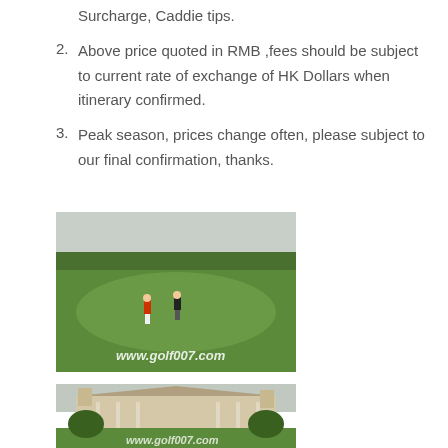Surcharge, Caddie tips.
Above price quoted in RMB ,fees should be subject to current rate of exchange of HK Dollars when itinerary confirmed.
Peak season, prices change often, please subject to our final confirmation, thanks.
[Figure (photo): Golf course aerial view with two golfers on fairway, water in background, www.golf007.com watermark]
[Figure (photo): Golf club house building with green lawn in foreground, partial www.golf007.com watermark]